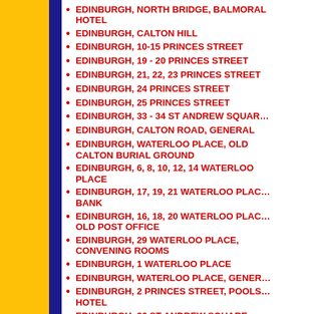EDINBURGH, NORTH BRIDGE, BALMORAL HOTEL
EDINBURGH, CALTON HILL
EDINBURGH, 10-15 PRINCES STREET
EDINBURGH, 19 - 20 PRINCES STREET
EDINBURGH, 21, 22, 23 PRINCES STREET
EDINBURGH, 24 PRINCES STREET
EDINBURGH, 25 PRINCES STREET
EDINBURGH, 33 - 34 ST ANDREW SQUARE
EDINBURGH, CALTON ROAD, GENERAL
EDINBURGH, WATERLOO PLACE, OLD CALTON BURIAL GROUND
EDINBURGH, 6, 8, 10, 12, 14 WATERLOO PLACE
EDINBURGH, 17, 19, 21 WATERLOO PLACE, BANK
EDINBURGH, 16, 18, 20 WATERLOO PLACE, OLD POST OFFICE
EDINBURGH, 29 WATERLOO PLACE, CONVENING ROOMS
EDINBURGH, 1 WATERLOO PLACE
EDINBURGH, WATERLOO PLACE, GENERAL
EDINBURGH, 2 PRINCES STREET, POOLSIDE HOTEL
EDINBURGH, 36 ST ANDREW SQUARE, DUNDAS HOUSE, HOPETOUN MONUMENT
EDINBURGH, 4 PRINCES STREET
EDINBURGH, 16, 17, 18 PRINCES STREET
EDINBURGH, 41 - 42 ST ANDREW SQUARE, WAR MEMORIAL